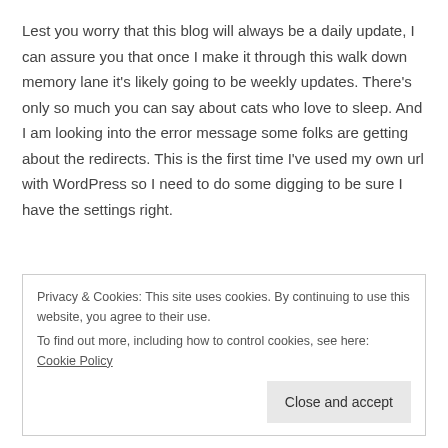Lest you worry that this blog will always be a daily update, I can assure you that once I make it through this walk down memory lane it's likely going to be weekly updates. There's only so much you can say about cats who love to sleep. And I am looking into the error message some folks are getting about the redirects. This is the first time I've used my own url with WordPress so I need to do some digging to be sure I have the settings right.
Privacy & Cookies: This site uses cookies. By continuing to use this website, you agree to their use.
To find out more, including how to control cookies, see here: Cookie Policy
[Close and accept]